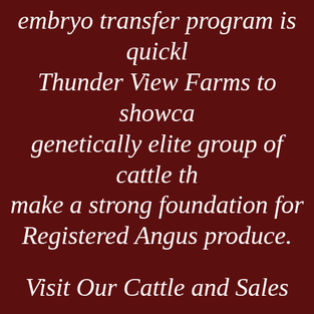embryo transfer program is quickly Thunder View Farms to showcase genetically elite group of cattle th make a strong foundation for Registered Angus produce.
Visit Our Cattle and Sales pages out our up & coming donor cow sires, and available genetics to